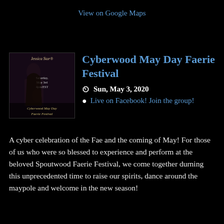View on Google Maps
[Figure (photo): Promotional flyer image for Cyberwood May Day Faerie Festival featuring Jessica Star performing, with text overlay: 'Jessica Star', 'Saturday, May 3rd, 4pm EST', 'Cyberwood May Day Faerie Festival']
Cyberwood May Day Faerie Festival
Sun, May 3, 2020
Live on Facebook! Join the group!
A cyber celebration of the Fae and the coming of May! For those of us who were so blessed to experience and perform at the beloved Spoutwood Faerie Festival, we come together durning this unprecedented time to raise our spirits, dance around the maypole and welcome in the new season!